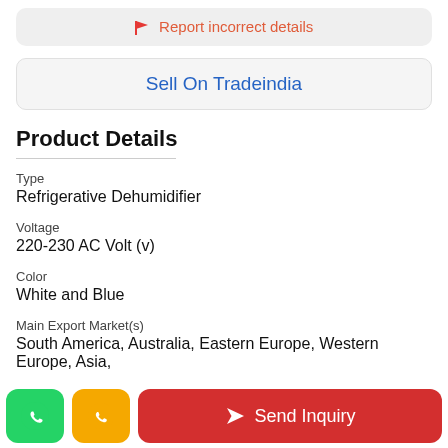Report incorrect details
Sell On Tradeindia
Product Details
Type
Refrigerative Dehumidifier
Voltage
220-230 AC Volt (v)
Color
White and Blue
Main Export Market(s)
South America, Australia, Eastern Europe, Western Europe, Asia,
Send Inquiry